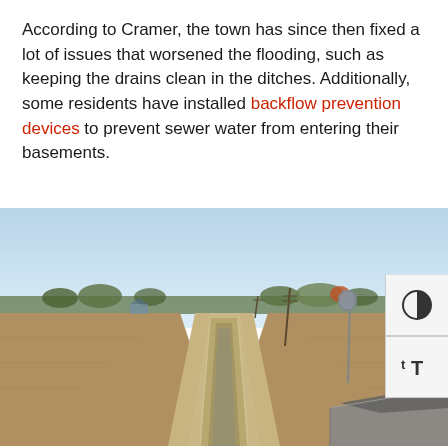According to Cramer, the town has since then fixed a lot of issues that worsened the flooding, such as keeping the drains clean in the ditches. Additionally, some residents have installed backflow prevention devices to prevent sewer water from entering their basements.
[Figure (photo): Outdoor photograph of a flat rural landscape showing a concrete drainage ditch or channel running along a road, with a stop sign post, utility poles, and trees visible in the background under a clear blue sky. Dry brown fields flank the channel.]